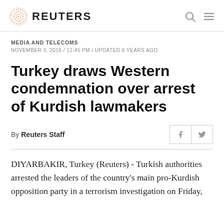REUTERS
MEDIA AND TELECOMS
NOVEMBER 3, 2016 / 11:45 PM / UPDATED 6 YEARS AGO
Turkey draws Western condemnation over arrest of Kurdish lawmakers
By Reuters Staff
DIYARBAKIR, Turkey (Reuters) - Turkish authorities arrested the leaders of the country's main pro-Kurdish opposition party in a terrorism investigation on Friday,